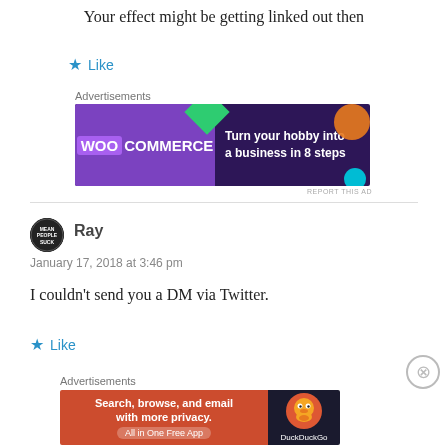Your effect might be getting linked out then
Like
Advertisements
[Figure (other): WooCommerce advertisement banner: purple background with 'Turn your hobby into a business in 8 steps']
REPORT THIS AD
Ray
January 17, 2018 at 3:46 pm
I couldn't send you a DM via Twitter.
Like
Advertisements
[Figure (other): DuckDuckGo advertisement banner: 'Search, browse, and email with more privacy. All in One Free App']